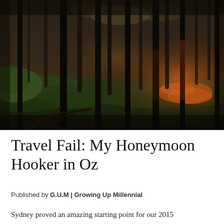[Figure (photo): Dark moody forest photograph showing tall thin tree trunks in a woodland with green ground cover, fallen branches, and warm orange light glowing among the trees on the right side. Atmospheric and misty.]
Travel Fail: My Honeymoon Hooker in Oz
Published by G.U.M | Growing Up Millennial
Sydney proved an amazing starting point for our 2015